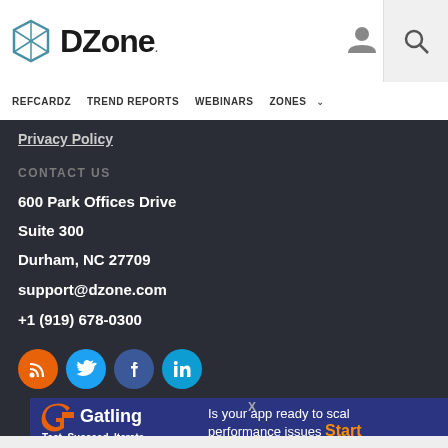DZone
REFCARDZ   TREND REPORTS   WEBINARS   ZONES
Privacy Policy
CONTACT US
600 Park Offices Drive
Suite 300
Durham, NC 27709
support@dzone.com
+1 (919) 678-0300
[Figure (other): Social media icons: RSS (orange), Twitter (blue), Facebook (dark blue), LinkedIn (light blue)]
[Figure (other): Gatling advertisement banner: logo with text 'Test. Succeed. Iterate.' and 'Is your app ready to scale performance issues Start']